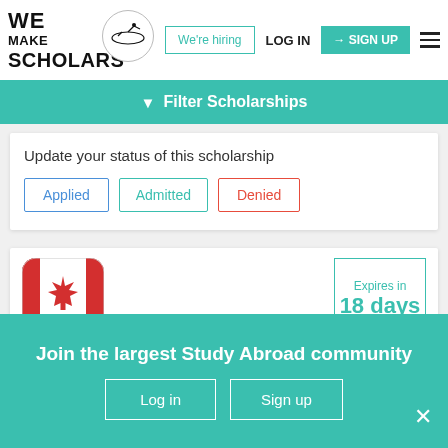[Figure (logo): We Make Scholars logo with circular emblem and acrobat figure]
We're hiring
LOG IN
SIGN UP
Filter Scholarships
Update your status of this scholarship
Applied
Admitted
Denied
[Figure (illustration): Canadian flag icon rendered as rounded square app icon]
Expires in
18 days
Join the largest Study Abroad community
Log in
Sign up